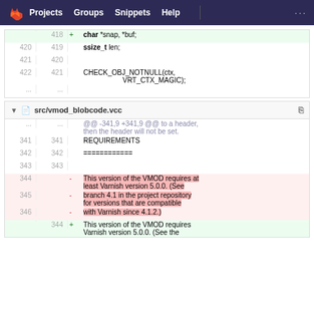Projects  Groups  Snippets  Help
[Figure (screenshot): GitLab diff view showing two code diff blocks. First block shows C code changes with char *snap, *buf; added on line 418. Second block for src/vmod_blobcode.vcc shows diff with REQUIREMENTS section and deleted/added lines about Varnish version requirements.]